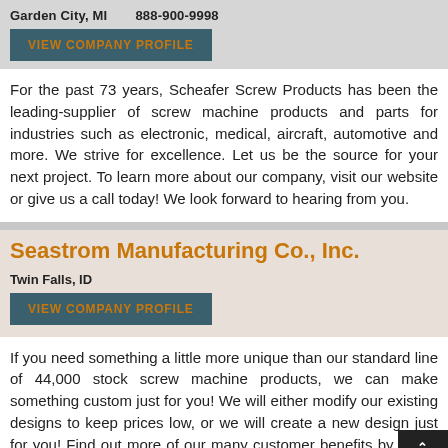Garden City, MI    888-900-9998
VIEW COMPANY PROFILE
For the past 73 years, Scheafer Screw Products has been the leading-supplier of screw machine products and parts for industries such as electronic, medical, aircraft, automotive and more. We strive for excellence. Let us be the source for your next project. To learn more about our company, visit our website or give us a call today! We look forward to hearing from you.
Seastrom Manufacturing Co., Inc.
Twin Falls, ID
VIEW COMPANY PROFILE
If you need something a little more unique than our standard line of 44,000 stock screw machine products, we can make something custom just for you! We will either modify our existing designs to keep prices low, or we will create a new design just for you! Find out more of our many customer benefits by giving us a call today, or visit our website today.